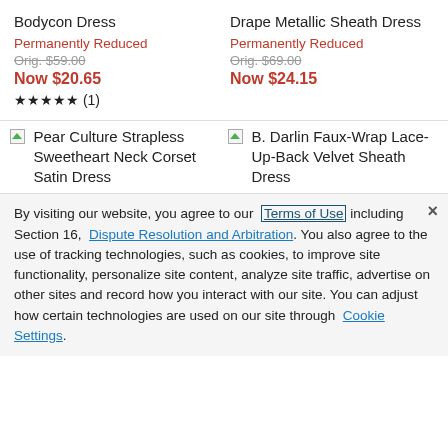Bodycon Dress
Permanently Reduced
Orig. $59.00
Now $20.65
★★★★★ (1)
Drape Metallic Sheath Dress
Permanently Reduced
Orig. $69.00
Now $24.15
[Figure (photo): Broken image placeholder for Pear Culture Strapless Sweetheart Neck Corset Satin Dress]
Pear Culture Strapless Sweetheart Neck Corset Satin Dress
[Figure (photo): Broken image placeholder for B. Darlin Faux-Wrap Lace-Up-Back Velvet Sheath Dress]
B. Darlin Faux-Wrap Lace-Up-Back Velvet Sheath Dress
By visiting our website, you agree to our Terms of Use including Section 16, Dispute Resolution and Arbitration. You also agree to the use of tracking technologies, such as cookies, to improve site functionality, personalize site content, analyze site traffic, advertise on other sites and record how you interact with our site. You can adjust how certain technologies are used on our site through Cookie Settings.